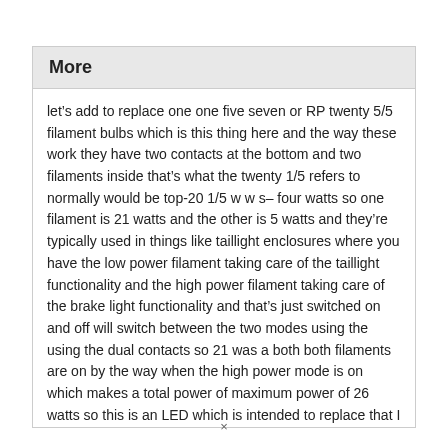More
let’s add to replace one one five seven or RP twenty 5/5 filament bulbs which is this thing here and the way these work they have two contacts at the bottom and two filaments inside that’s what the twenty 1/5 refers to normally would be top-20 1/5 w w s– four watts so one filament is 21 watts and the other is 5 watts and they’re typically used in things like taillight enclosures where you have the low power filament taking care of the taillight functionality and the high power filament taking care of the brake light functionality and that’s just switched on and off will switch between the two modes using the using the dual contacts so 21 was a both both filaments are on by the way when the high power mode is on which makes a total power of maximum power of 26 watts so this is an LED which is intended to replace that I have tried a number of LEDs to do this in the past the the
×